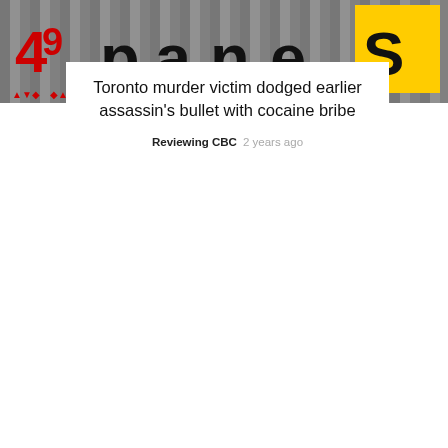[Figure (photo): Partial view of license plates or signage with red, black, and yellow text/numbers on a grey/dark background]
Toronto murder victim dodged earlier assassin's bullet with cocaine bribe
Reviewing CBC  2 years ago